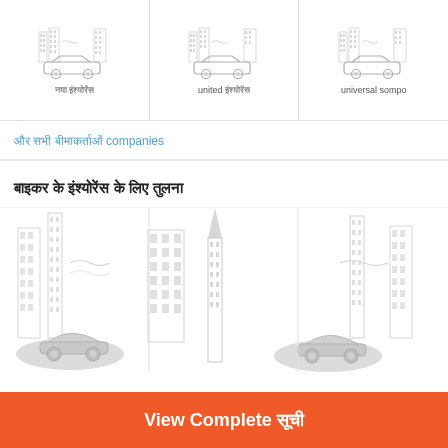[Figure (illustration): Three insurance company cards each showing a car icon above a cityscape background, with company names below: hindi text, 'united हिंदी', 'universal sompo']
और सभी बीमाकर्ताओं companies
बाइकर के इंश्योरेंस के लिए तुलना
[Figure (illustration): City skyline with buildings and two cars in the foreground, decorative insurance comparison illustration]
View Complete सूची